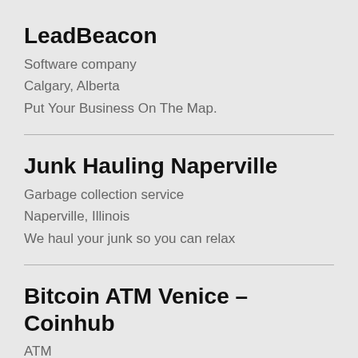LeadBeacon
Software company
Calgary, Alberta
Put Your Business On The Map.
Junk Hauling Naperville
Garbage collection service
Naperville, Illinois
We haul your junk so you can relax
Bitcoin ATM Venice – Coinhub
ATM
Venice, FL